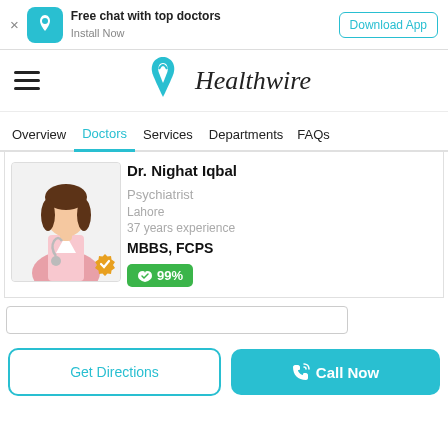[Figure (screenshot): App download banner with Healthwire icon, text 'Free chat with top doctors / Install Now', and 'Download App' button]
[Figure (logo): Healthwire logo with teal heart/drop icon and italic 'Healthwire' text]
Overview  Doctors  Services  Departments  FAQs
Dr. Nighat Iqbal
Psychiatrist
Lahore
37 years experience
MBBS, FCPS
99%
Get Directions
Call Now